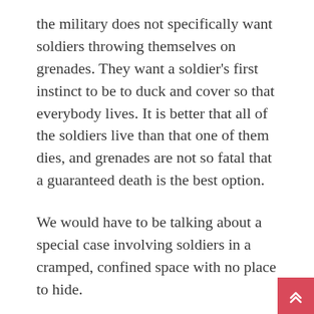the military does not specifically want soldiers throwing themselves on grenades. They want a soldier's first instinct to be to duck and cover so that everybody lives. It is better that all of the soldiers live than that one of them dies, and grenades are not so fatal that a guaranteed death is the best option.
We would have to be talking about a special case involving soldiers in a cramped, confined space with no place to hide.
But there is not much of a difference, really, between throwing oneself on a grenade and charging a machine-gun nest to silence it, or